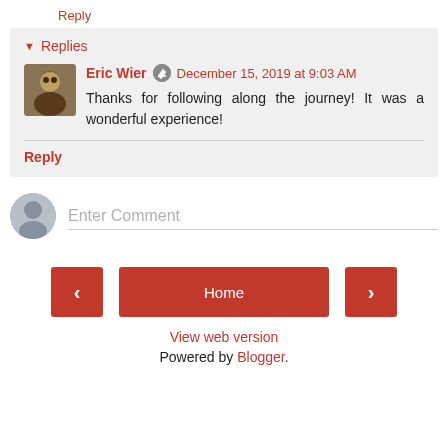Reply
▼ Replies
Eric Wier ✏ December 15, 2019 at 9:03 AM
Thanks for following along the journey! It was a wonderful experience!
Reply
Enter Comment
Home
View web version
Powered by Blogger.